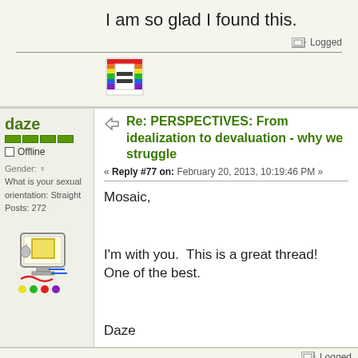I am so glad I found this.
Logged
[Figure (illustration): Rainbow equality sign avatar icon]
Re: PERSPECTIVES: From idealization to devaluation - why we struggle
« Reply #77 on: February 20, 2013, 10:19:46 PM »
daze
Offline
Gender: ♀
What is your sexual orientation: Straight
Posts: 272
[Figure (illustration): Cartoon computer with apple and colorful decorations avatar]
Mosaic,

I'm with you.  This is a great thread!  One of the best.

Daze
Logged
Scout9(
Re: How much of their actions...